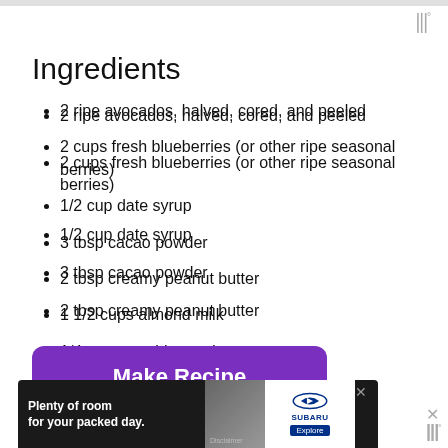Ingredients
2 ripe avocados, halved, cored, and peeled
2 cups fresh blueberries (or other ripe seasonal berries)
1/2 cup date syrup
3 tbsp cacao powder
2 tbsp creamy peanut butter
1 1/2 cups almond milk
1/4 cup raw chia seeds
Make Recipe
Powered by chicory
[Figure (screenshot): Advertisement banner: Subaru ad with text 'Plenty of room for your packed day.' and Explore button]